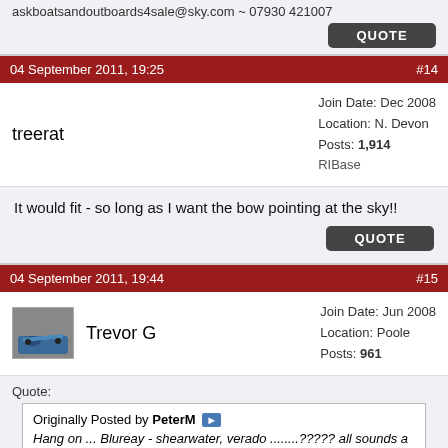askboatsandoutboards4sale@sky.com ~ 07930 421007
QUOTE
04 September 2011, 19:25   #14
treerat
Join Date: Dec 2008
Location: N. Devon
Posts: 1,914
RIBase
It would fit - so long as I want the bow pointing at the sky!!
QUOTE
04 September 2011, 19:44   #15
Trevor G
Join Date: Jun 2008
Location: Poole
Posts: 961
Quote:
Originally Posted by PeterM
Hang on ... Blureay - shearwater, verado ........????? all sounds a bit familiar??
How about whispers 4.7 searider , could chase the